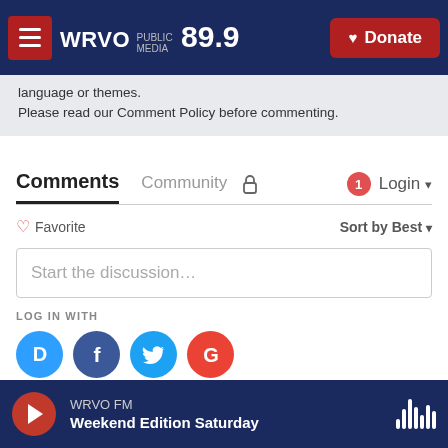WRVO PUBLIC MEDIA 89.9 | Donate
language or themes.
Please read our Comment Policy before commenting.
Comments
Community
Login
♡ Favorite
Sort by Best
Start the discussion…
LOG IN WITH
[Figure (screenshot): Social login icons: Disqus (D), Facebook (f), Twitter bird, Google (G)]
OR SIGN UP WITH DISQUS ?
WRVO FM — Weekend Edition Saturday